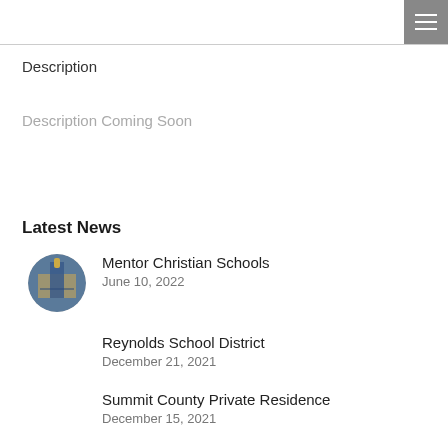Description
Description Coming Soon
Latest News
Mentor Christian Schools
June 10, 2022
Reynolds School District
December 21, 2021
Summit County Private Residence
December 15, 2021